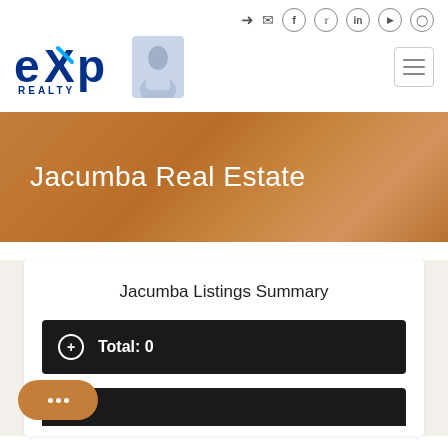[Figure (logo): eXp Realty logo with agent photo and hamburger menu navigation, plus social media icons]
Jacumba Real Estate
Jacumba Listings Summary
Total: 0